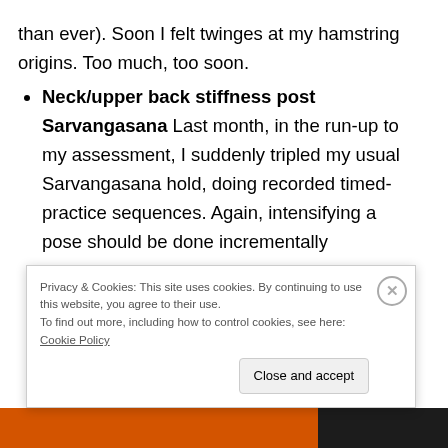than ever). Soon I felt twinges at my hamstring origins. Too much, too soon.
Neck/upper back stiffness post Sarvangasana Last month, in the run-up to my assessment, I suddenly tripled my usual Sarvangasana hold, doing recorded timed-practice sequences. Again, intensifying a pose should be done incrementally...
Privacy & Cookies: This site uses cookies. By continuing to use this website, you agree to their use. To find out more, including how to control cookies, see here: Cookie Policy